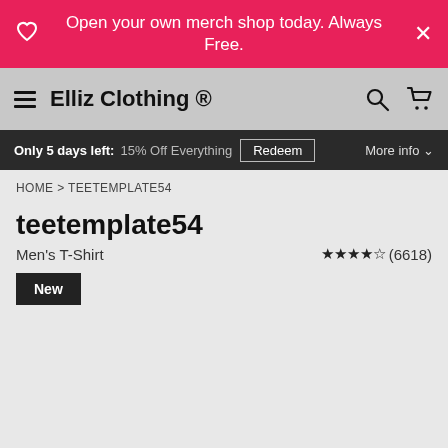Open your own merch shop today. Always Free.
Elliz Clothing ®
Only 5 days left: 15% Off Everything Redeem More info
HOME > TEETEMPLATE54
teetemplate54
Men's T-Shirt
★★★★½ (6618)
New